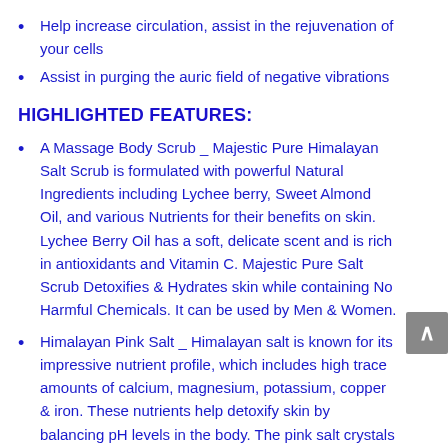Help increase circulation, assist in the rejuvenation of your cells
Assist in purging the auric field of negative vibrations
HIGHLIGHTED FEATURES:
A Massage Body Scrub _ Majestic Pure Himalayan Salt Scrub is formulated with powerful Natural Ingredients including Lychee berry, Sweet Almond Oil, and various Nutrients for their benefits on skin. Lychee Berry Oil has a soft, delicate scent and is rich in antioxidants and Vitamin C. Majestic Pure Salt Scrub Detoxifies & Hydrates skin while containing No Harmful Chemicals. It can be used by Men & Women.
Himalayan Pink Salt _ Himalayan salt is known for its impressive nutrient profile, which includes high trace amounts of calcium, magnesium, potassium, copper & iron. These nutrients help detoxify skin by balancing pH levels in the body. The pink salt crystals act as a pore-minimizer to restore